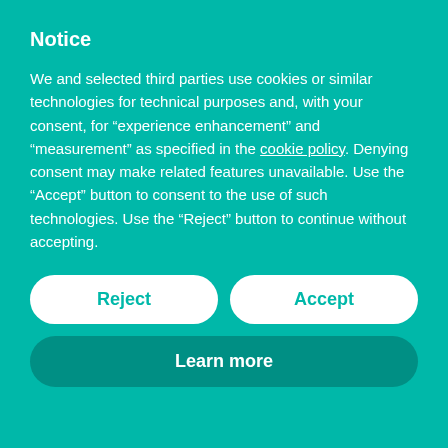Notice
We and selected third parties use cookies or similar technologies for technical purposes and, with your consent, for “experience enhancement” and “measurement” as specified in the cookie policy. Denying consent may make related features unavailable. Use the “Accept” button to consent to the use of such technologies. Use the “Reject” button to continue without accepting.
Reject
Accept
Learn more
which is also GMT+1) is our Full Moon Unity Consciousness Meditationn.
[Figure (illustration): Flower Blood Moon & Lunar Eclipse event image with sacred geometry pendant and Earth from space. Caption: Flower Blood Moon & Lunar Eclipse Join us live: Monday 16th May 7.30 - 9.30 pm UK time (GMT+1)]
During this session, we connect with other like-minded people and together we